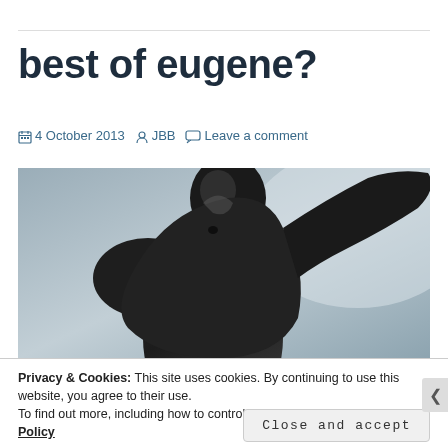best of eugene?
4 October 2013  JBB  Leave a comment
[Figure (photo): Close-up photo of a dark bronze or metallic sculpture figure against a blurred grey background]
Privacy & Cookies: This site uses cookies. By continuing to use this website, you agree to their use.
To find out more, including how to control cookies, see here: Cookie Policy
Close and accept